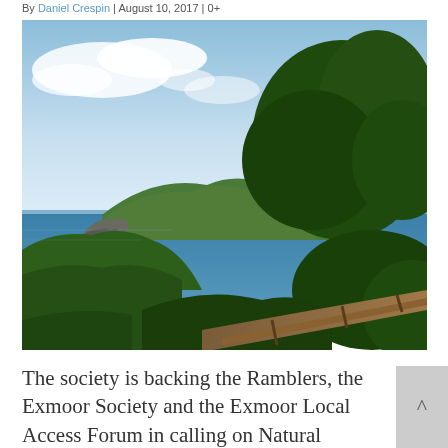By Daniel Crespin | August 10, 2017 | 0
[Figure (photo): Coastal landscape photograph showing a rocky headland with green hills, lush trees in the foreground and right side, a wooden railing visible at the bottom right, and a blue sea with partly cloudy sky. Appears to be Exmoor or similar UK coastal scenery.]
The society is backing the Ramblers, the Exmoor Society and the Exmoor Local Access Forum in calling on Natural England